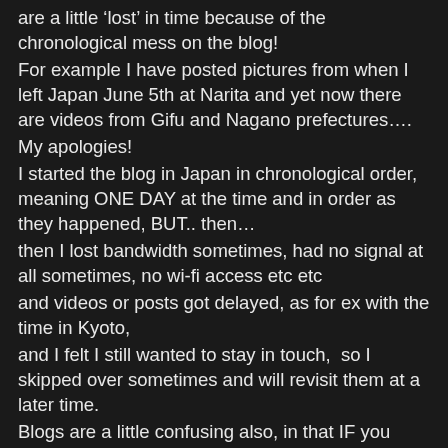are a little 'lost' in time because of the chronological mess on the blog! For example I have posted pictures from when I left Japan June 5th at Narita and yet now there are videos from Gifu and Nagano prefectures…. My apologies! I started the blog in Japan in chronological order, meaning ONE DAY at the time and in order as they happened, BUT.. then… then I lost bandwidth sometimes, had no signal at all sometimes, no wi-fi access etc etc and videos or posts got delayed, as for ex with the time in Kyoto, and I felt I still wanted to stay in touch, so I skipped over sometimes and will revisit them at a later time. Blogs are a little confusing also, in that IF you read TOP > DOWN like one would naturally want to do, you get everything backwards time-wise… meaning LAST things first on top of each page, and that can be confusing in itself